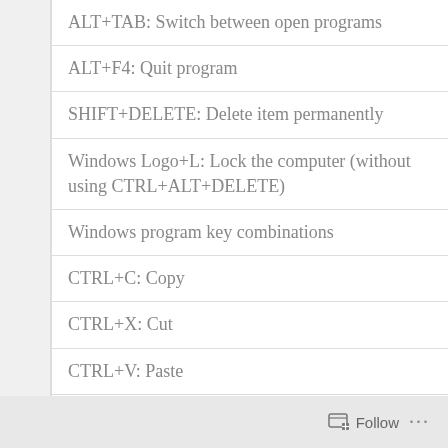ALT+TAB: Switch between open programs
ALT+F4: Quit program
SHIFT+DELETE: Delete item permanently
Windows Logo+L: Lock the computer (without using CTRL+ALT+DELETE)
Windows program key combinations
CTRL+C: Copy
CTRL+X: Cut
CTRL+V: Paste
CTRL+Z: Undo
CTRL+B: Bold
CTRL+U: Underline
CTRL+I: Italic